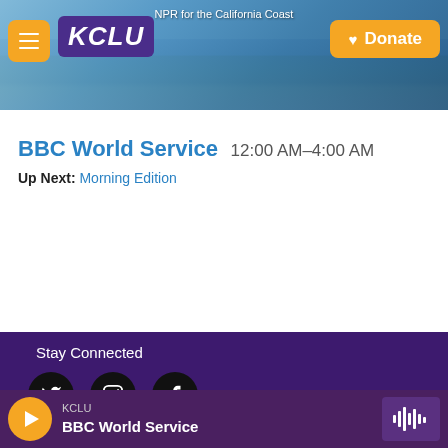NPR for the California Coast
[Figure (screenshot): KCLU radio station website header with logo, hamburger menu, coastal photo background, and Donate button]
BBC World Service 12:00 AM–4:00 AM
Up Next: Morning Edition
Stay Connected
[Figure (other): Social media icons: Twitter, Instagram, Facebook]
KCLU BBC World Service